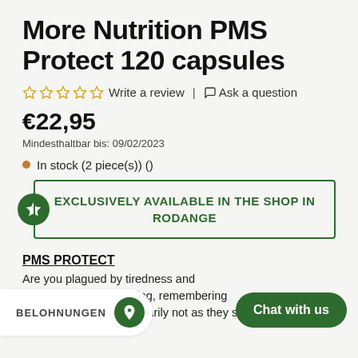More Nutrition PMS Protect 120 capsules
☆☆☆☆☆ Write a review | Ask a question
€22,95
Mindesthaltbar bis: 09/02/2023
In stock (2 piece(s)) ()
EXCLUSIVELY AVAILABLE IN THE SHOP IN RODANGE
PMS PROTECT
Are you plagued by tiredness and c… as learning, remembering and thinking, are temporarily not as they should be